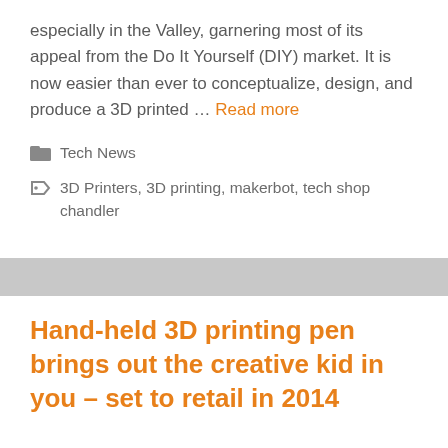especially in the Valley, garnering most of its appeal from the Do It Yourself (DIY) market. It is now easier than ever to conceptualize, design, and produce a 3D printed … Read more
Tech News
3D Printers, 3D printing, makerbot, tech shop chandler
Hand-held 3D printing pen brings out the creative kid in you – set to retail in 2014